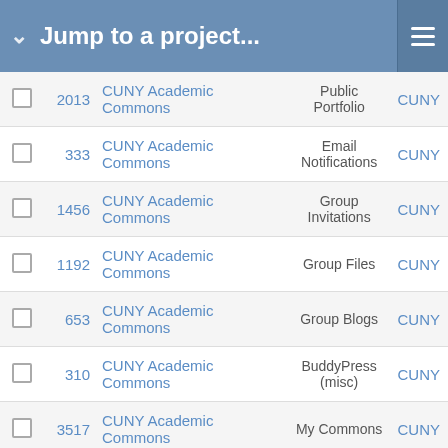Jump to a project...
|  | # | Project | Component | Tag |
| --- | --- | --- | --- | --- |
| ☐ | 2013 | CUNY Academic Commons | Public Portfolio | CUNY |
| ☐ | 333 | CUNY Academic Commons | Email Notifications | CUNY |
| ☐ | 1456 | CUNY Academic Commons | Group Invitations | CUNY |
| ☐ | 1192 | CUNY Academic Commons | Group Files | CUNY |
| ☐ | 653 | CUNY Academic Commons | Group Blogs | CUNY |
| ☐ | 310 | CUNY Academic Commons | BuddyPress (misc) | CUNY |
| ☐ | 3517 | CUNY Academic Commons | My Commons | CUNY |
| ☐ | 4661 | CUNY Academic Commons | User Experience | CUNY |